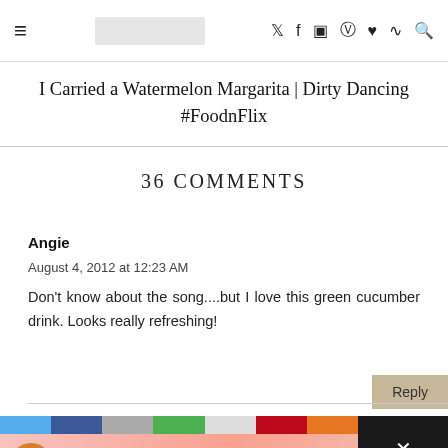I Carried a Watermelon Margarita | Dirty Dancing #FoodnFlix
I Carried a Watermelon Margarita | Dirty Dancing #FoodnFlix
36 COMMENTS
Angie
August 4, 2012 at 12:23 AM
Don't know about the song....but I love this green cucumber drink. Looks really refreshing!